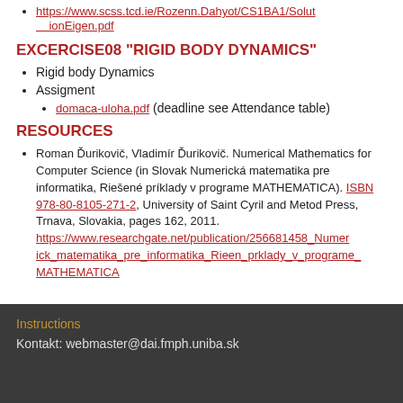https://www.scss.tcd.ie/Rozenn.Dahyot/CS1BA1/SolutionEigen.pdf
EXCERCISE08 "RIGID BODY DYNAMICS"
Rigid body Dynamics
Assigment
domaca-uloha.pdf (deadline see Attendance table)
RESOURCES
Roman Ďurikovič, Vladimír Ďurikovič. Numerical Mathematics for Computer Science (in Slovak Numerická matematika pre informatika, Riešené príklady v programe MATHEMATICA). ISBN 978-80-8105-271-2, University of Saint Cyril and Metod Press, Trnava, Slovakia, pages 162, 2011. https://www.researchgate.net/publication/256681458_Numerick_matematika_pre_informatika_Rieen_prklady_v_programe_MATHEMATICA
Instructions
Kontakt: webmaster@dai.fmph.uniba.sk